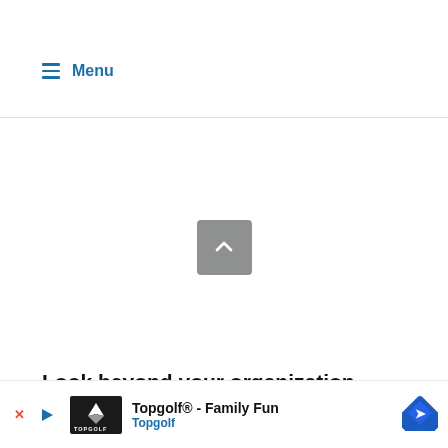≡ Menu
[Figure (other): Scroll-to-top button: a gray rounded square with a white upward chevron arrow in the center]
Look beyond your organization
[Figure (other): Advertisement banner: Topgolf® - Family Fun, Topgolf, with navigation arrow icon]